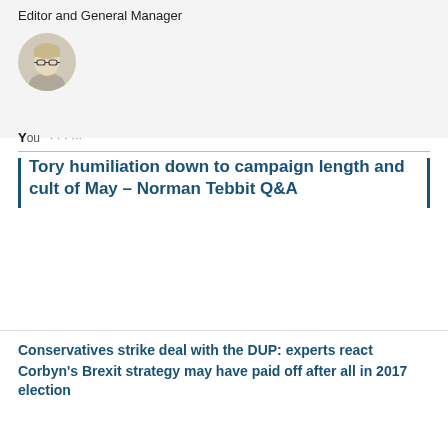Editor and General Manager
[Figure (photo): Circular avatar photo of a woman with glasses and blonde hair]
You · ...
Tory humiliation down to campaign length and cult of May – Norman Tebbit Q&A
Conservatives strike deal with the DUP: experts react
Corbyn's Brexit strategy may have paid off after all in 2017 election